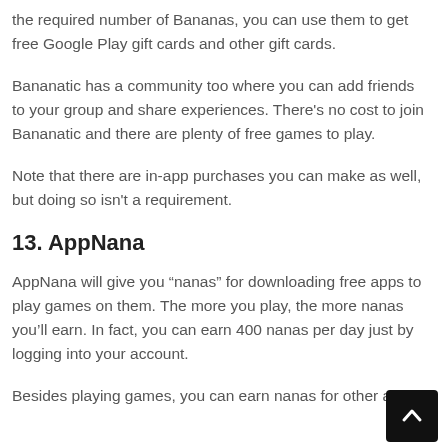the required number of Bananas, you can use them to get free Google Play gift cards and other gift cards.
Bananatic has a community too where you can add friends to your group and share experiences. There’s no cost to join Bananatic and there are plenty of free games to play.
Note that there are in-app purchases you can make as well, but doing so isn’t a requirement.
13. AppNana
AppNana will give you “nanas” for downloading free apps to play games on them. The more you play, the more nanas you’ll earn. In fact, you can earn 400 nanas per day just by logging into your account.
Besides playing games, you can earn nanas for other ac...